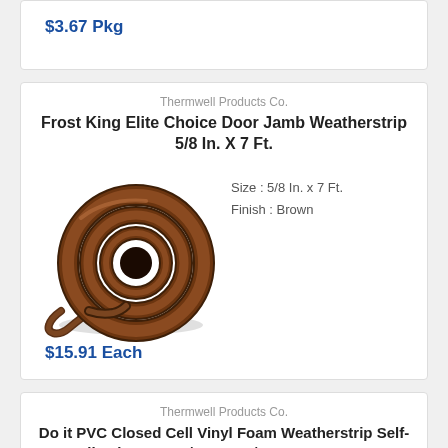$3.67 Pkg
Thermwell Products Co.
Frost King Elite Choice Door Jamb Weatherstrip 5/8 In. X 7 Ft.
[Figure (photo): Brown coiled door jamb weatherstrip product photo]
Size : 5/8 In. x 7 Ft.
Finish : Brown
$15.91 Each
Thermwell Products Co.
Do it PVC Closed Cell Vinyl Foam Weatherstrip Self-Adhesive Tape 3/8" W X 1/4"T X 17' L, Gray
Size : 3/8" W x 1/4" T x 17' L